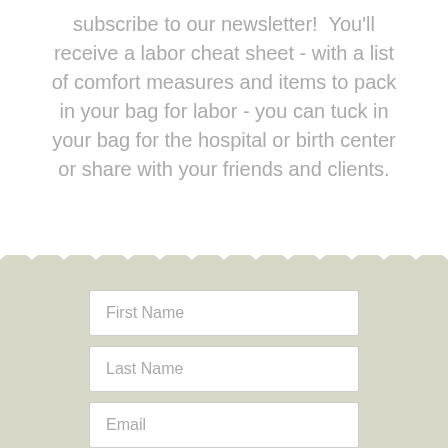subscribe to our newsletter!  You'll receive a labor cheat sheet - with a list of comfort measures and items to pack in your bag for labor - you can tuck in your bag for the hospital or birth center or share with your friends and clients.
[Figure (other): Zigzag / torn edge decorative divider between white top section and beige bottom section]
First Name
Last Name
Email
Get My Cheat Sheet!